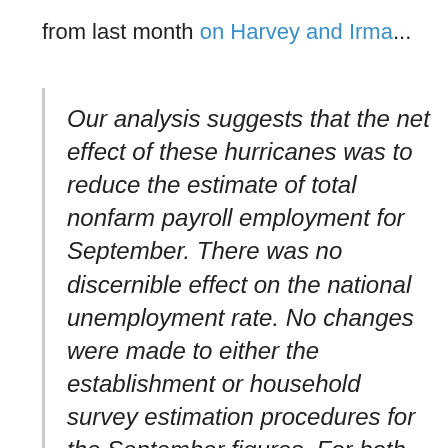from last month on Harvey and Irma...
Our analysis suggests that the net effect of these hurricanes was to reduce the estimate of total nonfarm payroll employment for September. There was no discernible effect on the national unemployment rate. No changes were made to either the establishment or household survey estimation procedures for the September figures. For both surveys, collection rates generally